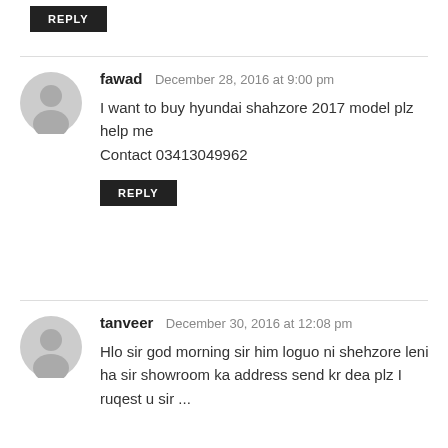REPLY
fawad  December 28, 2016 at 9:00 pm
I want to buy hyundai shahzore 2017 model plz help me
Contact 03413049962
REPLY
tanveer  December 30, 2016 at 12:08 pm
Hlo sir god morning sir him loguo ni shehzore leni ha sir showroom ka address send kr dea plz I ruqest u sir ...